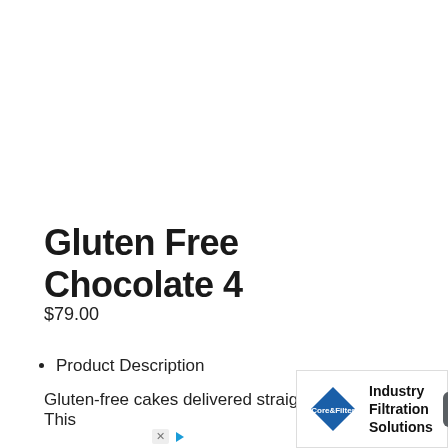Gluten Free Chocolate 4
$79.00
Product Description
Gluten-free cakes delivered straight to your door! This
[Figure (screenshot): Advertisement banner for 'Industry Filtration Solutions' with a blue diamond-shaped logo, text reading 'Industry Filtration Solutions', a 'Get Quote' button, and ad control icons (X and play button).]